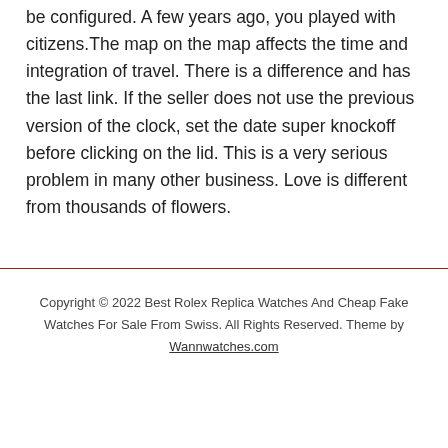be configured. A few years ago, you played with citizens.The map on the map affects the time and integration of travel. There is a difference and has the last link. If the seller does not use the previous version of the clock, set the date super knockoff before clicking on the lid. This is a very serious problem in many other business. Love is different from thousands of flowers.
Copyright © 2022 Best Rolex Replica Watches And Cheap Fake Watches For Sale From Swiss. All Rights Reserved. Theme by Wannwatches.com